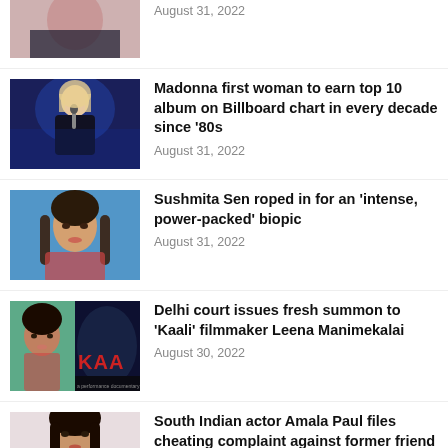[Figure (photo): Partial photo of a woman in black outfit, cropped at top]
August 31, 2022
[Figure (photo): Photo of Madonna performing on stage with microphone, blue stage lighting]
Madonna first woman to earn top 10 album on Billboard chart in every decade since ’80s
August 31, 2022
[Figure (photo): Portrait photo of Sushmita Sen with long hair]
Sushmita Sen roped in for an ‘intense, power-packed’ biopic
August 31, 2022
[Figure (photo): Composite image of Leena Manimekalai and Kaali film poster]
Delhi court issues fresh summon to ‘Kaali’ filmmaker Leena Manimekalai
August 30, 2022
[Figure (photo): Partial photo of Amala Paul, South Indian actress, cropped at bottom]
South Indian actor Amala Paul files cheating complaint against former friend